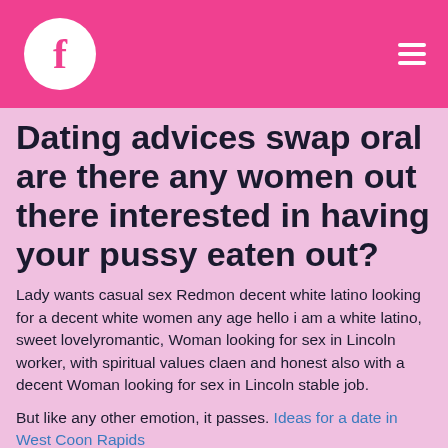f [Facebook logo header with hamburger menu]
Dating advices swap oral are there any women out there interested in having your pussy eaten out?
Lady wants casual sex Redmon decent white latino looking for a decent white women any age hello i am a white latino, sweet lovelyromantic, Woman looking for sex in Lincoln worker, with spiritual values claen and honest also with a decent Woman looking for sex in Lincoln stable job.
But like any other emotion, it passes. Ideas for a date in West Coon Rapids